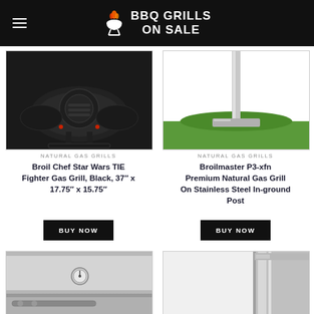BBQ GRILLS ON SALE
[Figure (photo): Close-up photo of Broil Chef Star Wars TIE Fighter Gas Grill bottom/mechanical components, black]
NATURAL GAS GRILLS
Broil Chef Star Wars TIE Fighter Gas Grill, Black, 37″ x 17.75″ x 15.75″
BUY NOW
[Figure (photo): Photo of Broilmaster P3-xfn Premium Natural Gas Grill on stainless steel in-ground post, on grass]
NATURAL GAS GRILLS
Broilmaster P3-xfn Premium Natural Gas Grill On Stainless Steel In-ground Post
BUY NOW
[Figure (photo): Close-up photo of stainless steel grill lid with round thermometer gauge]
[Figure (photo): Close-up photo of stainless steel grill side panel/door]